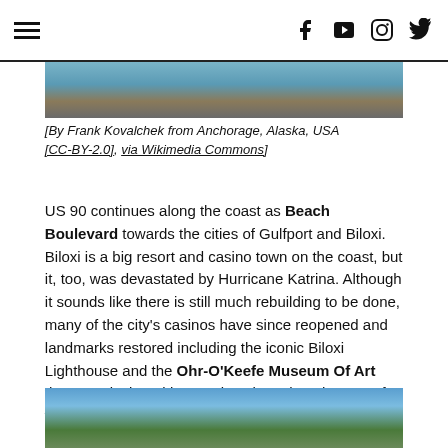Menu | Facebook | YouTube | Instagram | Twitter
[Figure (photo): Top partial photo showing coastal scenery with blue water and rocky/sandy shore]
[By Frank Kovalchek from Anchorage, Alaska, USA [CC-BY-2.0], via Wikimedia Commons]
US 90 continues along the coast as Beach Boulevard towards the cities of Gulfport and Biloxi. Biloxi is a big resort and casino town on the coast, but it, too, was devastated by Hurricane Katrina. Although it sounds like there is still much rebuilding to be done, many of the city's casinos have since reopened and landmarks restored including the iconic Biloxi Lighthouse and the Ohr-O'Keefe Museum Of Art that was designed by Frank Gehry. The Ohr-O'Keefe was under construction when Katrina hit and was severely damaged. It ultimately opened in 2010.
[Figure (photo): Bottom partial photo showing building with trees against blue sky]